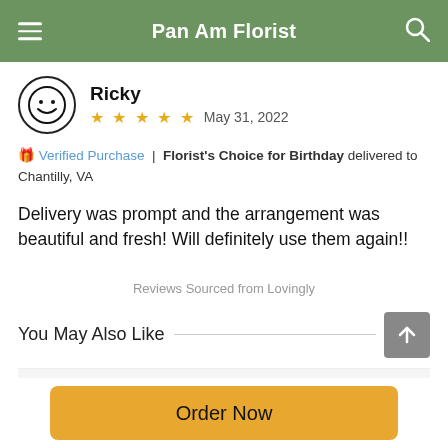Pan Am Florist
Ricky
★ ★ ★ ★ ★  May 31, 2022
🎁 Verified Purchase  |  Florist's Choice for Birthday delivered to Chantilly, VA
Delivery was prompt and the arrangement was beautiful and fresh! Will definitely use them again!!
Reviews Sourced from Lovingly
You May Also Like
Order Now